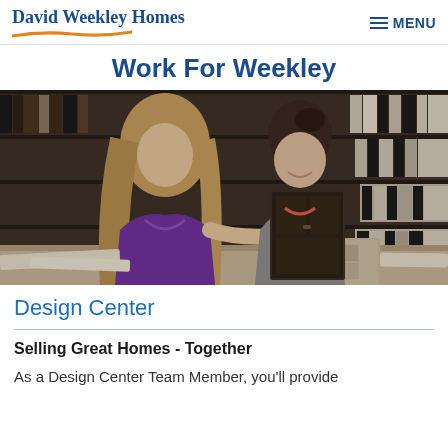David Weekley Homes | MENU
Work For Weekley
[Figure (photo): Two women in a design center showroom looking at material samples. One woman in a purple top with long blonde hair sits across from a woman in a grey cardigan holding a dark cabinet sample. Behind them are shelves filled with binders and sample books.]
Design Center
Selling Great Homes - Together
As a Design Center Team Member, you'll provide